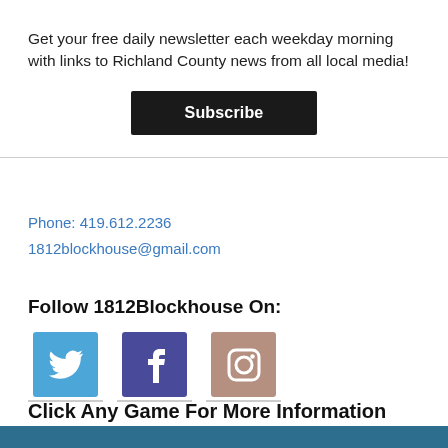Get your free daily newsletter each weekday morning with links to Richland County news from all local media!
Subscribe
Phone: 419.612.2236
1812blockhouse@gmail.com
Follow 1812Blockhouse On:
[Figure (other): Social media icons: Twitter (blue bird), Facebook (purple f), Instagram (brown camera outline)]
Click Any Game For More Information